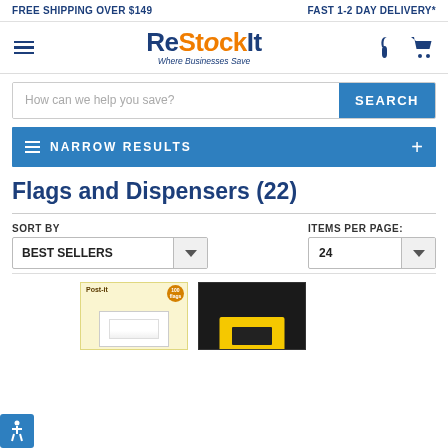FREE SHIPPING OVER $149    FAST 1-2 DAY DELIVERY*
[Figure (logo): ReStockIt logo with tagline 'Where Businesses Save', hamburger menu, phone icon, cart icon]
How can we help you save?
NARROW RESULTS
Flags and Dispensers (22)
SORT BY
BEST SELLERS
ITEMS PER PAGE:
24
[Figure (photo): Post-it flags product image - yellow notepad with flags, 100 flags badge]